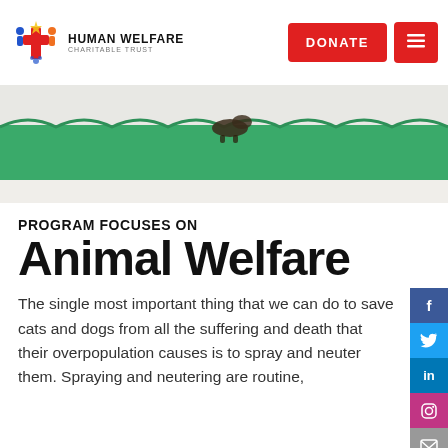[Figure (logo): Human Welfare Charitable Trust logo with colorful cross/people icon and text]
[Figure (photo): Photograph of an animal (cat or dog) on a green surgical drape on a white table, animal welfare veterinary setting]
PROGRAM FOCUSES ON
Animal Welfare
The single most important thing that we can do to save cats and dogs from all the suffering and death that their overpopulation causes is to spray and neuter them. Spraying and neutering are routine,